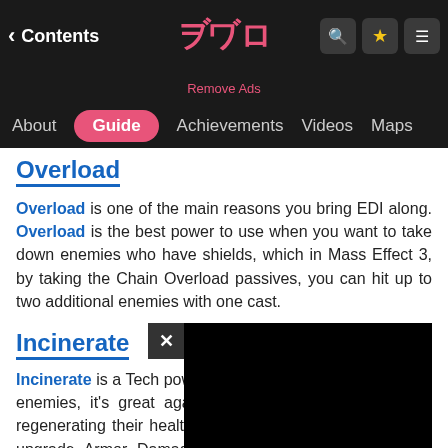Contents | Guide | About | Achievements | Videos | Maps
Overload
Overload is one of the main reasons you bring EDI along. Overload is the best power to use when you want to take down enemies who have shields, which in Mass Effect 3, by taking the Chain Overload passives, you can hit up to two additional enemies with one cast.
Incinerate
Incinerate is a Tech power... enemies, it's great again... also stop enemies regenerating their health. Furthermore, by taking the final upgrade Armor Damage, it'll increase your damage to armor an extra 50%.